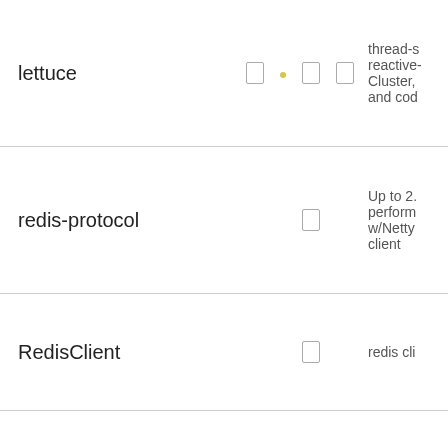| Name |  |  |  | Description |
| --- | --- | --- | --- | --- |
| lettuce | □ | · | □ | □ | thread-s reactive- Cluster, and cod |
| redis-protocol |  |  | □ |  | Up to 2. perform w/Netty client |
| RedisClient |  |  | □ |  | redis cli |
| Redisson | □ | · |  | □ | distribut data str Redis s |
| RJC |  |  | □ |  |  |
|  |  |  |  |  | The Ver |